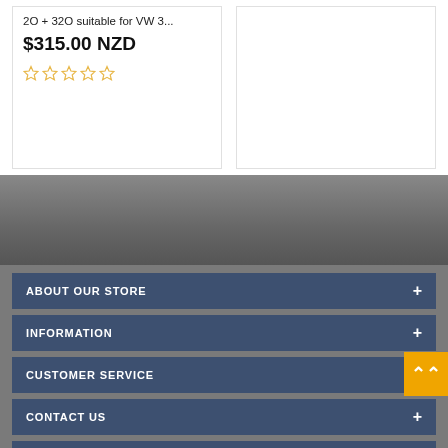2O + 32O suitable for VW 3...
$315.00 NZD
[Figure (other): Star rating row with 5 empty/outline gold stars indicating 0 stars rating]
[Figure (photo): Background photo of a car interior/exterior in grey tones used as the footer section background]
ABOUT OUR STORE
INFORMATION
CUSTOMER SERVICE
CONTACT US
PARTNERSHIP